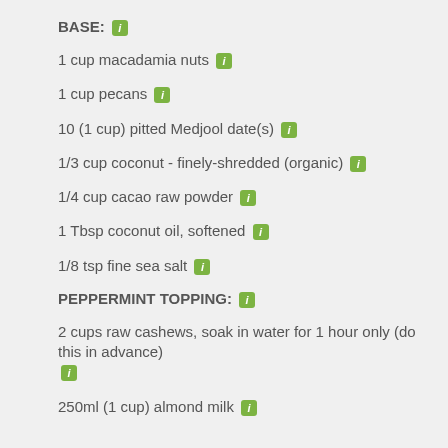BASE:
1 cup macadamia nuts
1 cup pecans
10 (1 cup) pitted Medjool date(s)
1/3 cup coconut - finely-shredded (organic)
1/4 cup cacao raw powder
1 Tbsp coconut oil, softened
1/8 tsp fine sea salt
PEPPERMINT TOPPING:
2 cups raw cashews, soak in water for 1 hour only (do this in advance)
250ml (1 cup) almond milk